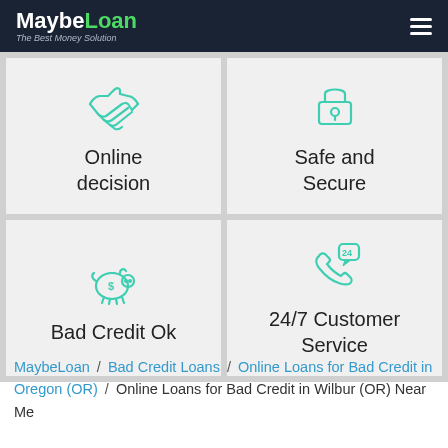MaybeLoan — The Best Money Solution
[Figure (illustration): Handshake icon in teal/green outline style representing online decision]
Online decision
[Figure (illustration): Padlock icon in teal/green outline style representing safe and secure]
Safe and Secure
[Figure (illustration): Piggy bank icon with dollar sign in teal/green outline style representing bad credit ok]
Bad Credit Ok
[Figure (illustration): Phone with 24 speech bubble icon in teal/green outline style representing 24/7 customer service]
24/7 Customer Service
MaybeLoan / Bad Credit Loans / Online Loans for Bad Credit in Oregon (OR) / Online Loans for Bad Credit in Wilbur (OR) Near Me